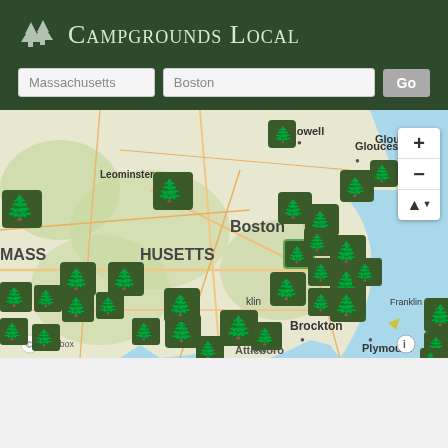Campgrounds Local
[Figure (screenshot): Search interface with two input fields labeled 'Massachusetts' and 'Boston', and a 'Go' button on a dark green background header]
[Figure (map): Interactive Mapbox map showing eastern Massachusetts area including Boston, Lowell, Gloucester, Leominster, Brockton, Plymouth, and Attleboro. Numerous green campground markers (tree icons) are distributed across the map. A zoom control panel is visible on the right side. A Mapbox credit logo is shown at bottom left.]